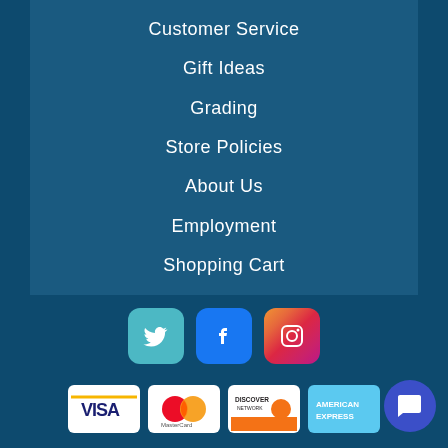Customer Service
Gift Ideas
Grading
Store Policies
About Us
Employment
Shopping Cart
[Figure (logo): Social media icons: Twitter, Facebook, Instagram]
[Figure (logo): Payment method logos: Visa, MasterCard, Discover Network, American Express]